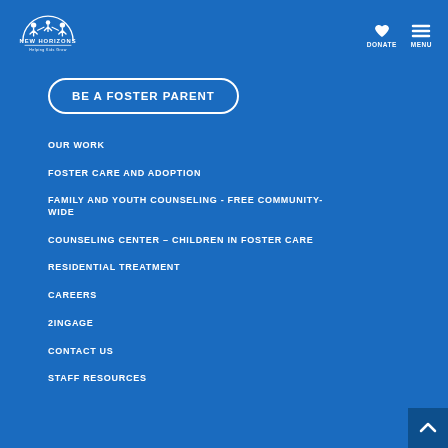[Figure (logo): New Horizons logo with silhouettes of people and a sun/arc design, white on blue background, with 'NEW HORIZONS' text and 'Helping Kids Grow' tagline]
DONATE
MENU
BE A FOSTER PARENT
OUR WORK
FOSTER CARE AND ADOPTION
FAMILY AND YOUTH COUNSELING - FREE COMMUNITY-WIDE
COUNSELING CENTER - CHILDREN IN FOSTER CARE
RESIDENTIAL TREATMENT
CAREERS
2INGAGE
CONTACT US
STAFF RESOURCES